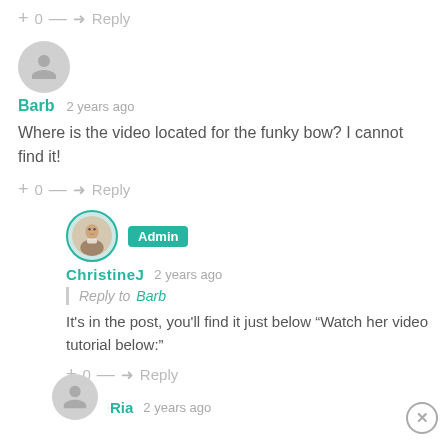+ 0 — ➔ Reply
[Figure (illustration): Generic user avatar circle (gray)]
Barb  2 years ago
Where is the video located for the funky bow? I cannot find it!
+ 0 — ➔ Reply
[Figure (photo): ChristineJ profile photo in circle with teal border]
Admin
ChristineJ  2 years ago
Reply to Barb
It's in the post, you'll find it just below "Watch her video tutorial below:"
+ 0 — ➔ Reply
[Figure (illustration): Generic user avatar circle (gray) for Ria]
Ria  2 years ago